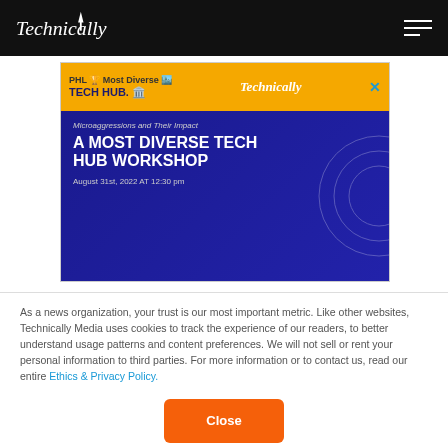Technically
[Figure (infographic): Advertisement banner for 'A Most Diverse Tech Hub Workshop - Microaggressions and Their Impact', August 31st, 2022 AT 12:30 pm. Features PHL Most Diverse Tech Hub and Technically Media branding on orange top bar, blue body with white text and a portrait of a woman on the right side.]
As a news organization, your trust is our most important metric. Like other websites, Technically Media uses cookies to track the experience of our readers, to better understand usage patterns and content preferences. We will not sell or rent your personal information to third parties. For more information or to contact us, read our entire Ethics & Privacy Policy.